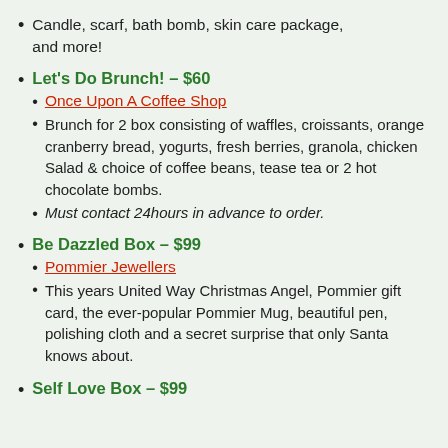Candle, scarf, bath bomb, skin care package, and more!
Let's Do Brunch! – $60
Once Upon A Coffee Shop
Brunch for 2 box consisting of waffles, croissants, orange cranberry bread, yogurts, fresh berries, granola, chicken Salad & choice of coffee beans, tease tea or 2 hot chocolate bombs.
Must contact 24hours in advance to order.
Be Dazzled Box – $99
Pommier Jewellers
This years United Way Christmas Angel, Pommier gift card, the ever-popular Pommier Mug, beautiful pen, polishing cloth and a secret surprise that only Santa knows about.
Self Love Box – $99